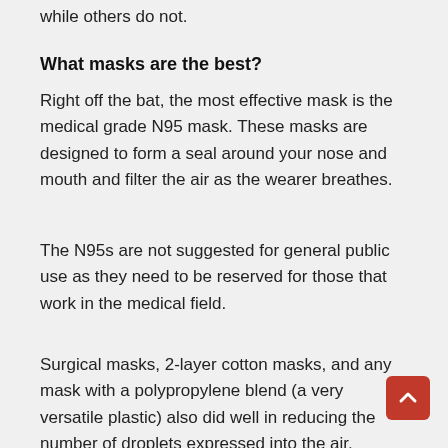while others do not.
What masks are the best?
Right off the bat, the most effective mask is the medical grade N95 mask. These masks are designed to form a seal around your nose and mouth and filter the air as the wearer breathes.
The N95s are not suggested for general public use as they need to be reserved for those that work in the medical field.
Surgical masks, 2-layer cotton masks, and any mask with a polypropylene blend (a very versatile plastic) also did well in reducing the number of droplets expressed into the air.